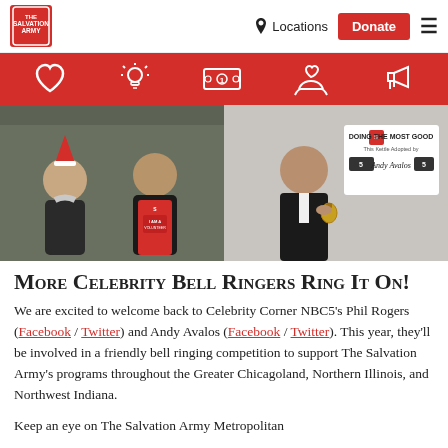Locations | Donate
[Figure (other): Red navigation icon bar with five white icons: heart, lightbulb, dollar bill, hands holding heart, megaphone]
[Figure (photo): Two photos side by side: left shows two people outdoors, one wearing a Santa hat and one in a red Salvation Army volunteer apron; right shows a man in a dark suit ringing a bell near a sign reading 'DOING THE MOST GOOD - This Kettle Adopted by Andy Avalos NBC5']
More Celebrity Bell Ringers Ring It On!
We are excited to welcome back to Celebrity Corner NBC5's Phil Rogers (Facebook / Twitter) and Andy Avalos (Facebook / Twitter). This year, they'll be involved in a friendly bell ringing competition to support The Salvation Army's programs throughout the Greater Chicagoland, Northern Illinois, and Northwest Indiana.
Keep an eye on The Salvation Army Metropolitan